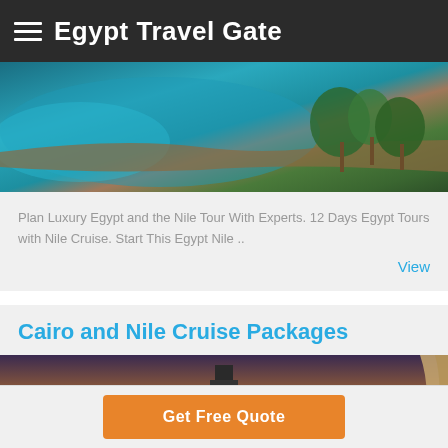Egypt Travel Gate
[Figure (photo): Aerial view of a Nile landscape with turquoise water, a bridge or pathway along the shore, and palm trees]
Plan Luxury Egypt and the Nile Tour With Experts. 12 Days Egypt Tours with Nile Cruise. Start This Egypt Nile ..
View
Cairo and Nile Cruise Packages
[Figure (photo): Night cityscape of Cairo with illuminated buildings and city lights, with curtain visible on the right side]
Get Free Quote